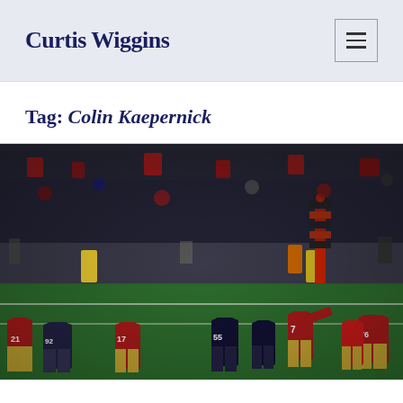Curtis Wiggins
Tag: Colin Kaepernick
[Figure (photo): Football game photo showing San Francisco 49ers players in red and gold uniforms playing against the Baltimore Ravens in black and white. Players with jersey numbers 21, 92, 17, 55, 7, 76 visible on field. Crowd of spectators and photographers visible in background along the sideline. First down marker pole visible in background.]